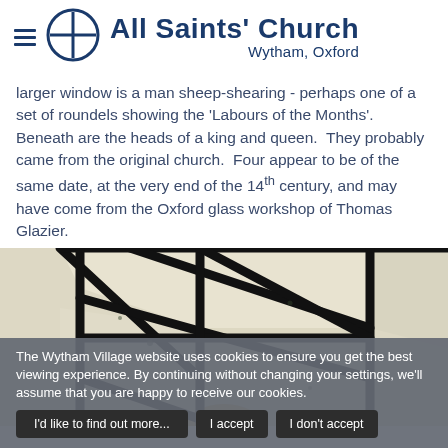All Saints' Church
Wytham, Oxford
larger window is a man sheep-shearing - perhaps one of a set of roundels showing the 'Labours of the Months'. Beneath are the heads of a king and queen. They probably came from the original church. Four appear to be of the same date, at the very end of the 14th century, and may have come from the Oxford glass workshop of Thomas Glazier.
[Figure (photo): Close-up photograph of a stained glass window fragment showing geometric lead came patterns with pale cream/white glass sections and thick black lead lines forming angular shapes, with part of a circular element visible at the bottom.]
The Wytham Village website uses cookies to ensure you get the best viewing experience. By continuing without changing your settings, we'll assume that you are happy to receive our cookies.